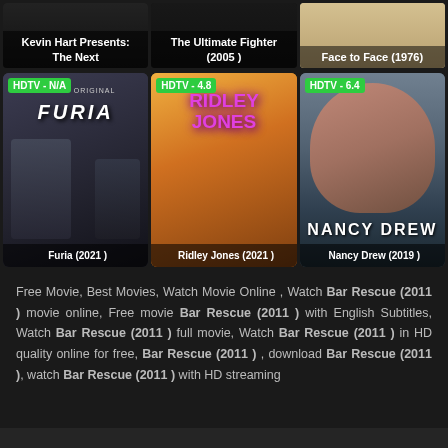[Figure (screenshot): Top row of three movie/TV show cards: Kevin Hart Presents: The Next, The Ultimate Fighter (2005), Face to Face (1976)]
[Figure (screenshot): Middle row of three streaming cards with HDTV ratings: Furia (2021) HDTV-N/A, Ridley Jones (2021) HDTV-4.8, Nancy Drew (2019) HDTV-6.4]
Free Movie, Best Movies, Watch Movie Online , Watch Bar Rescue (2011 ) movie online, Free movie Bar Rescue (2011 ) with English Subtitles, Watch Bar Rescue (2011 ) full movie, Watch Bar Rescue (2011 ) in HD quality online for free, Bar Rescue (2011 ) , download Bar Rescue (2011 ), watch Bar Rescue (2011 ) with HD streaming